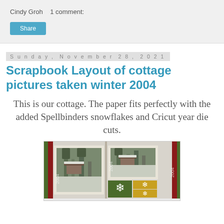Cindy Groh   1 comment:
Share
Sunday, November 28, 2021
Scrapbook Layout of cottage pictures taken winter 2004
This is our cottage. The paper fits perfectly with the added Spellbinders snowflakes and Cricut year die cuts.
[Figure (photo): Scrapbook layout showing two framed winter cottage photos with green and red decorative paper, snowflake embellishments, and '2004' die cut text.]